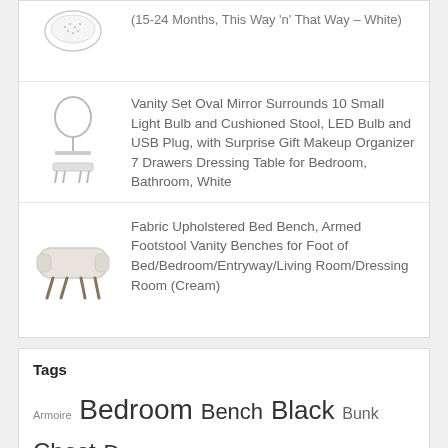(15-24 Months, This Way 'n' That Way – White)
[Figure (photo): Product image of a vanity set with oval mirror and stool]
Vanity Set Oval Mirror Surrounds 10 Small Light Bulb and Cushioned Stool, LED Bulb and USB Plug, with Surprise Gift Makeup Organizer 7 Drawers Dressing Table for Bedroom, Bathroom, White
[Figure (photo): Product image of a fabric upholstered bed bench in cream color]
Fabric Upholstered Bed Bench, Armed Footstool Vanity Benches for Foot of Bed/Bedroom/Entryway/Living Room/Dressing Room (Cream)
Tags
Armoire Bedroom Bench Black Bunk Chest Drawer Drawers Dresser Fabric Finish Foam Foundation Frame